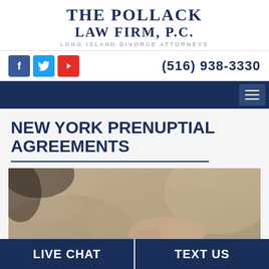THE POLLACK LAW FIRM, P.C. LONG ISLAND DIVORCE ATTORNEYS
(516) 938-3330
NEW YORK PRENUPTIAL AGREEMENTS
[Figure (photo): Sepia-toned close-up photograph of hands holding, with rings visible, against draped fabric background — wedding/marriage themed image]
LIVE CHAT
TEXT US